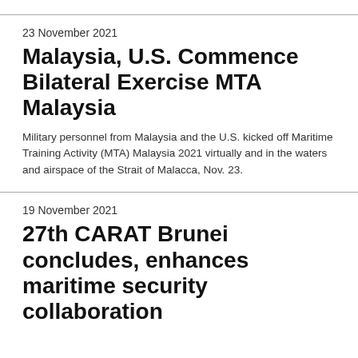23 November 2021
Malaysia, U.S. Commence Bilateral Exercise MTA Malaysia
Military personnel from Malaysia and the U.S. kicked off Maritime Training Activity (MTA) Malaysia 2021 virtually and in the waters and airspace of the Strait of Malacca, Nov. 23.
19 November 2021
27th CARAT Brunei concludes, enhances maritime security collaboration